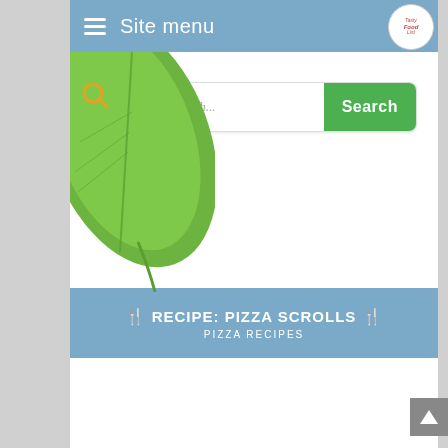Site menu
[Figure (logo): Tasty Food List circular logo in top right corner]
[Figure (photo): Green leaf background image on left side of search section]
Recipe search...
🍴 RECIPE: PIZZA SCROLLS 🍴
PIZZA RECIPES